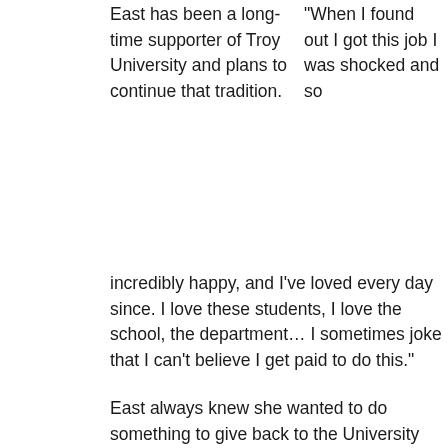East has been a long-time supporter of Troy University and plans to continue that tradition.
"When I found out I got this job I was shocked and so incredibly happy, and I've loved every day since. I love these students, I love the school, the department… I sometimes joke that I can't believe I get paid to do this."
East always knew she wanted to do something to give back to the University that had given her so much, but it wasn't until a conversation with the Office of Development that she decided on leaving a legacy gift. The gift designates funds to be used for either new equipment and technology for the broadcast journalism department or to create a scholarship for a broadcast student.
“I wouldn’t be who I am today without TROY, and I wanted to be able to benefit this department that has done so much for me,” she said. “I hope this will help future journalists the way this school has helped me. I hope that